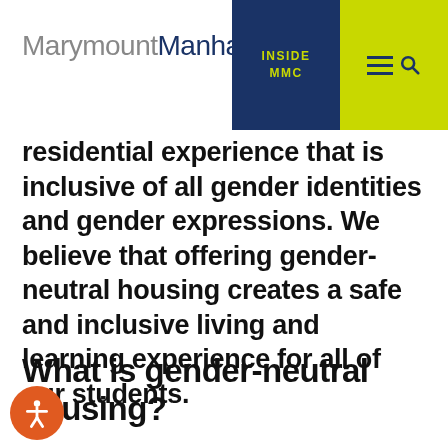MarymountManhattan | INSIDE MMC
residential experience that is inclusive of all gender identities and gender expressions. We believe that offering gender-neutral housing creates a safe and inclusive living and learning experience for all of our students.
What is gender-neutral housing?